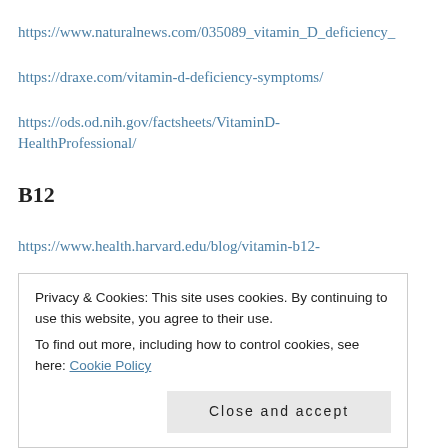https://www.naturalnews.com/035089_vitamin_D_deficiency_
https://draxe.com/vitamin-d-deficiency-symptoms/
https://ods.od.nih.gov/factsheets/VitaminD-HealthProfessional/
B12
https://www.health.harvard.edu/blog/vitamin-b12-
Privacy & Cookies: This site uses cookies. By continuing to use this website, you agree to their use.
To find out more, including how to control cookies, see here: Cookie Policy
Close and accept